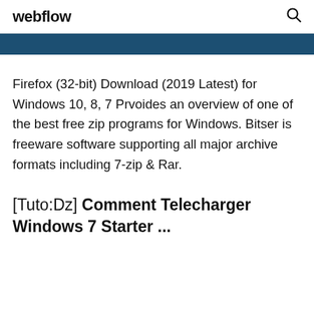webflow
Firefox (32-bit) Download (2019 Latest) for Windows 10, 8, 7 Prvoides an overview of one of the best free zip programs for Windows. Bitser is freeware software supporting all major archive formats including 7-zip & Rar.
[Tuto:Dz] Comment Telecharger Windows 7 Starter ...